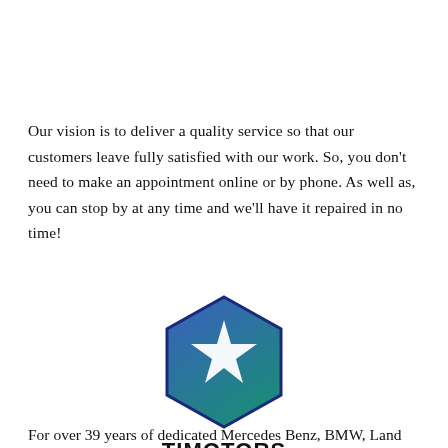Our vision is to deliver a quality service so that our customers leave fully satisfied with our work. So, you don't need to make an appointment online or by phone. As well as, you can stop by at any time and we'll have it repaired in no time!
[Figure (logo): Hexagon-shaped logo with gradient from teal to blue, containing a white star icon, with the text TIMOTORS below it and a horizontal divider line]
For over 39 years of dedicated Mercedes Benz, BMW, Land